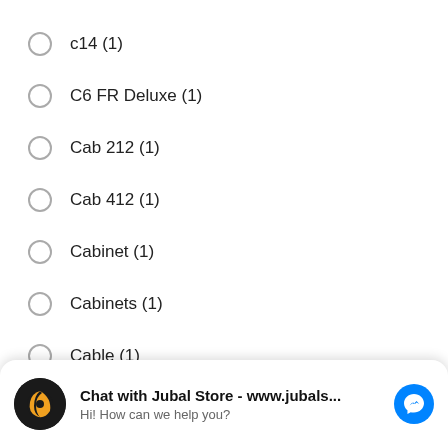c14 (1)
C6 FR Deluxe (1)
Cab 212 (1)
Cab 412 (1)
Cabinet (1)
Cabinets (1)
Cable (1)
Cables (2)
Cafe Racer (1)
Cajon (5)
[Figure (screenshot): Chat widget: Chat with Jubal Store - www.jubals... / Hi! How can we help you?]
Cams (2)